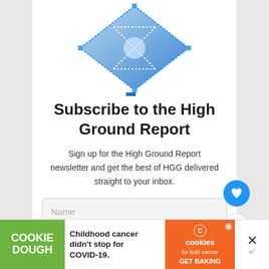[Figure (logo): Blue diamond-shaped pixel art logo for High Ground Report — hourglass/network graphic in blue and white pixels]
Subscribe to the High Ground Report
Sign up for the High Ground Report newsletter and get the best of HGG delivered straight to your inbox.
Name (input field placeholder)
[Figure (infographic): Advertisement banner: COOKIE DOUGH | Childhood cancer didn't stop for COVID-19. | cookies for kids' cancer GET BAKING | X close button]